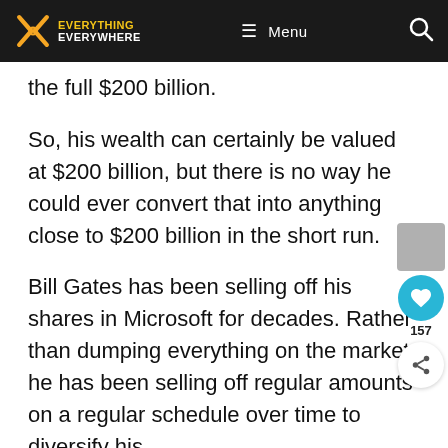Everything Everywhere — Menu (navigation bar)
the full $200 billion.
So, his wealth can certainly be valued at $200 billion, but there is no way he could ever convert that into anything close to $200 billion in the short run.
Bill Gates has been selling off his shares in Microsoft for decades. Rather than dumping everything on the market, he has been selling off regular amounts on a regular schedule over time to diversify his